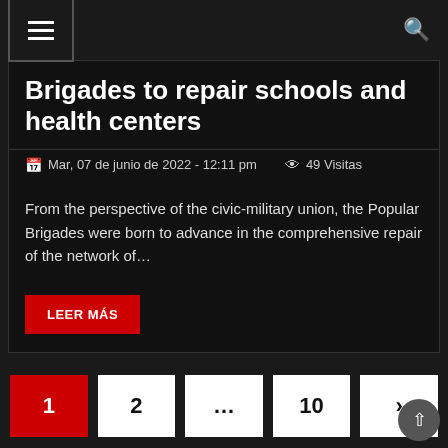Menu | Search
Brigades to repair schools and health centers
Mar, 07 de junio de 2022 - 12:11 pm   49 Visitas
From the perspective of the civic-military union, the Popular Brigades were born to advance in the comprehensive repair of the network of…
LEER MÁS
1  2  ...  10  ›
SEÑAL RADIO EN VIVO